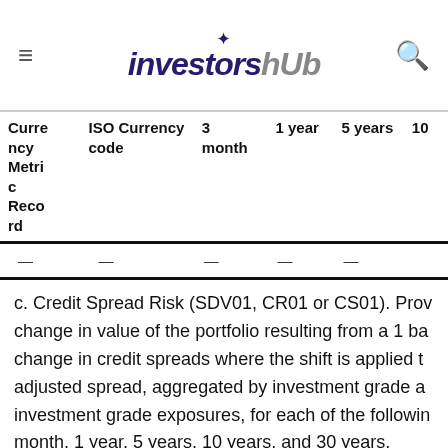investorsHub
| Currency
Metric
Record | ISO Currency code | 3 month | 1 year | 5 years | 10 |
| --- | --- | --- | --- | --- | --- |
| — | — | — | — | — |  |
c. Credit Spread Risk (SDV01, CR01 or CS01). Provide the change in value of the portfolio resulting from a 1 basis point change in credit spreads where the shift is applied to the option adjusted spread, aggregated by investment grade and non-investment grade exposures, for each of the following tenors: 3 month, 1 year, 5 years, 10 years, and 30 years.